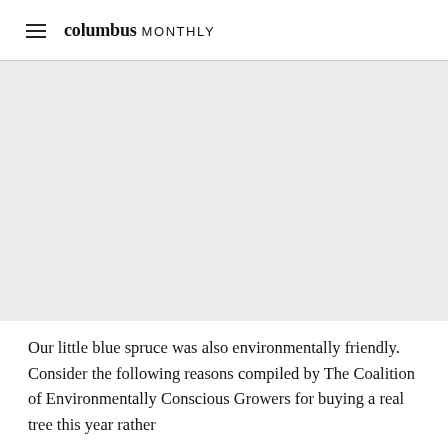columbus MONTHLY
[Figure (photo): Large image area, gray placeholder, likely a photo of a blue spruce tree or Christmas tree scene]
Our little blue spruce was also environmentally friendly. Consider the following reasons compiled by The Coalition of Environmentally Conscious Growers for buying a real tree this year rather